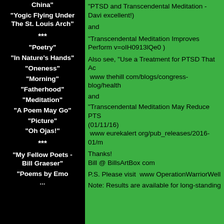China"
"Yogic Flying Under The St. Louis Arch"
***
"Poetry"
"In Nature's Hands"
"Oneness"
"Morning"
"Fatherhood"
"Meditation"
"A Poem May Go"
"Picture"
"Oh Ojas!"
***
"My Fellow Poets - Bill Graeser"
"Poems by Emo
"PTSD and Transcendental Meditation - Davi excellent!)
and
"Transcendental Meditation Improves Perform v=oIH0913lQe0 )
Also see, "Use a Treatment for PTSD That Ac www thehill com/blogs/congress-blog/health
and
"Transcendental Meditation May Reduce PTS (01/11/16) www eurekalert org/pub_releases/2016-01/m
Thanks!
Bill @ BillsArtBox com
P.S. Please visit  www OperationWarriorWell
Note: Results are available for long-standing